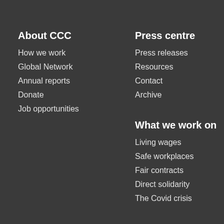About CCC
How we work
Global Network
Annual reports
Donate
Job opportunities
Press centre
Press releases
Resources
Contact
Archive
What we work on
Living wages
Safe workplaces
Fair contracts
Direct solidarity
The Covid crisis